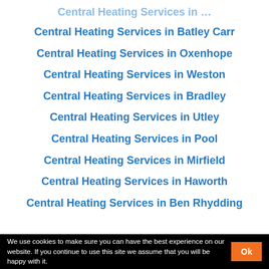Central Heating Services in Batley Carr
Central Heating Services in Oxenhope
Central Heating Services in Weston
Central Heating Services in Bradley
Central Heating Services in Utley
Central Heating Services in Pool
Central Heating Services in Mirfield
Central Heating Services in Haworth
Central Heating Services in Ben Rhydding
We use cookies to make sure you can have the best experience on our website. If you continue to use this site we assume that you will be happy with it.